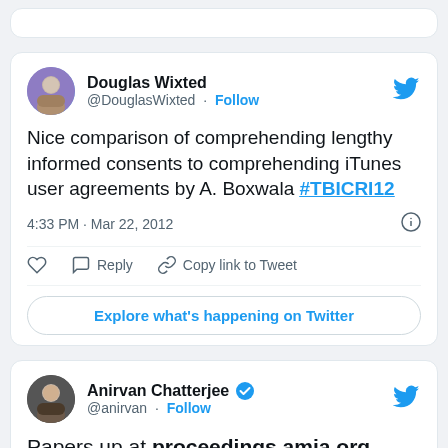[Figure (screenshot): Partial top of a previous tweet card, cut off at top of page]
Douglas Wixted @DouglasWixted · Follow
Nice comparison of comprehending lengthy informed consents to comprehending iTunes user agreements by A. Boxwala #TBICRI12
4:33 PM · Mar 22, 2012
Reply   Copy link to Tweet
Explore what's happening on Twitter
Anirvan Chatterjee @anirvan · Follow
Papers up at proceedings.amia.org